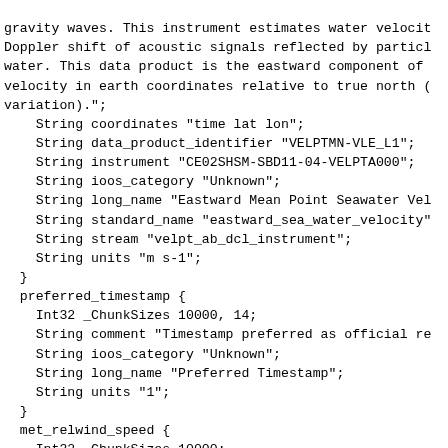gravity waves. This instrument estimates water velocit
Doppler shift of acoustic signals reflected by particl
water. This data product is the eastward component of
velocity in earth coordinates relative to true north (
variation).";
    String coordinates "time lat lon";
    String data_product_identifier "VELPTMN-VLE_L1";
    String instrument "CE02SHSM-SBD11-04-VELPTA000";
    String ioos_category "Unknown";
    String long_name "Eastward Mean Point Seawater Vel
    String standard_name "eastward_sea_water_velocity"
    String stream "velpt_ab_dcl_instrument";
    String units "m s-1";
  }
  preferred_timestamp {
    Int32 _ChunkSizes 10000, 14;
    String comment "Timestamp preferred as official re
    String ioos_category "Unknown";
    String long_name "Preferred Timestamp";
    String units "1";
  }
  met_relwind_speed {
    Int32 _ChunkSizes 10000;
    Float32 _FillValue NaN;
    Float32 actual_range 0.08714476, 14.03855;
    String comment "RELWIND_SPD-AUX, the magnitude of